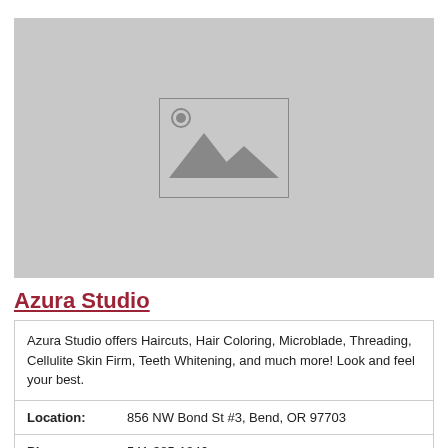[Figure (photo): Placeholder image with gray background and mountain/landscape icon in the center]
Azura Studio
| Azura Studio offers Haircuts, Hair Coloring, Microblade, Threading, Cellulite Skin Firm, Teeth Whitening, and much more! Look and feel your best. |
| Location: | 856 NW Bond St #3, Bend, OR 97703 |
| Phone: | 541-385-1846 |